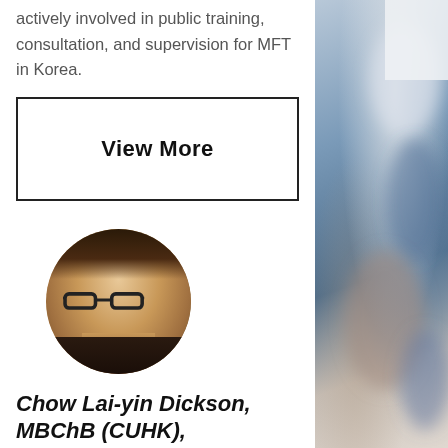actively involved in public training, consultation, and supervision for MFT in Korea.
View More
[Figure (photo): Circular profile photo of Chow Lai-yin Dickson, a man with glasses, smiling, wearing a dark jacket]
Chow Lai-yin Dickson, MBChB (CUHK), FRCPsych (Hong Kong)
[Figure (photo): Blurred background photo of people in a room, visible on the right side of the page]